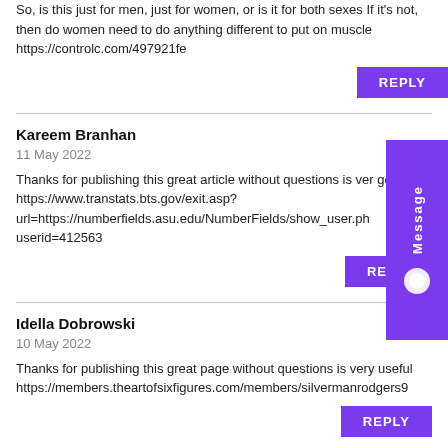So, is this just for men, just for women, or is it for both sexes If it's not, then do women need to do anything different to put on muscle https://controlc.com/497921fe
REPLY
Kareem Branhan
11 May 2022
Thanks for publishing this great article without questions is very good https://www.transtats.bts.gov/exit.asp?url=https://numberfields.asu.edu/NumberFields/show_user.php?userid=412563
REPLY
Idella Dobrowski
10 May 2022
Thanks for publishing this great page without questions is very useful https://members.theartofsixfigures.com/members/silvermanrodgers9
REPLY